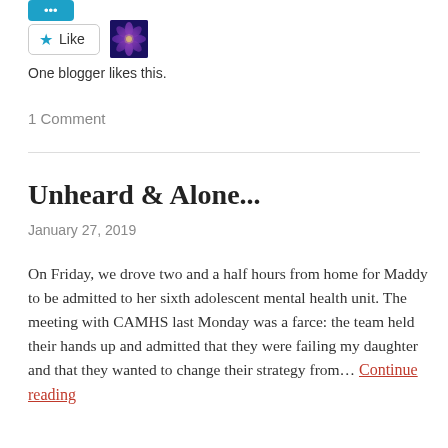[Figure (other): Blue rounded button (social share/follow button) at top left]
[Figure (other): Like button with star icon and purple flower avatar thumbnail. Text: One blogger likes this.]
One blogger likes this.
1 Comment
Unheard & Alone...
January 27, 2019
On Friday, we drove two and a half hours from home for Maddy to be admitted to her sixth adolescent mental health unit. The meeting with CAMHS last Monday was a farce: the team held their hands up and admitted that they were failing my daughter and that they wanted to change their strategy from… Continue reading